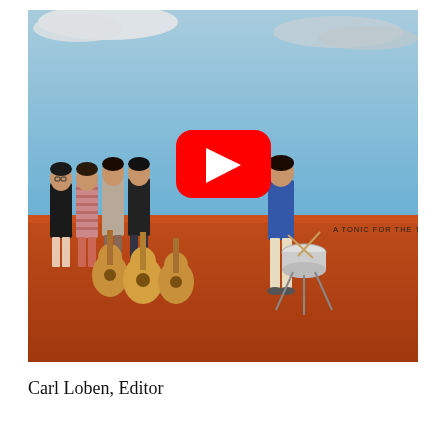[Figure (illustration): Album art for 'A Tonic for the Troops' showing illustrated band members with guitars on a red/orange ground against a blue sky, with a YouTube play button overlay in the center.]
Carl Loben, Editor